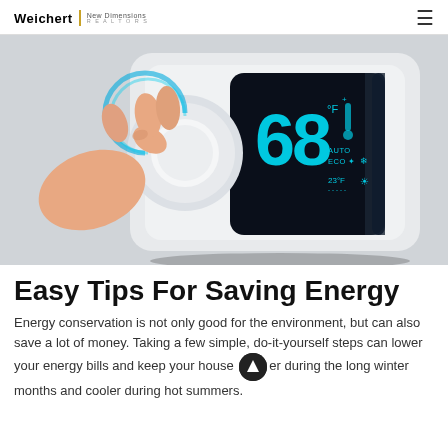Weichert | New Dimensions
[Figure (photo): Close-up photo of a hand adjusting a smart thermostat showing 68°F temperature display with blue digital numbers, AUTO ECO mode, and 23°F outdoor temperature on a dark touchscreen]
Easy Tips For Saving Energy
Energy conservation is not only good for the environment, but can also save a lot of money. Taking a few simple, do-it-yourself steps can lower your energy bills and keep your house warmer during the long winter months and cooler during hot summers.